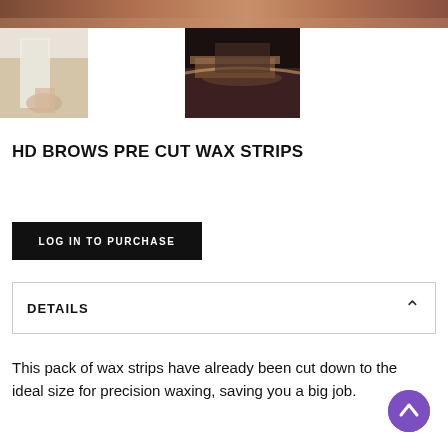[Figure (photo): Top cropped product/lifestyle photo strip showing skin tones and beauty product]
[Figure (photo): Thumbnail 1: wax strips being peeled, light background with hand]
[Figure (photo): Thumbnail 2: eyebrow waxing close-up with dark background and applicator]
HD BROWS PRE CUT WAX STRIPS
LOG IN TO PURCHASE
DETAILS
This pack of wax strips have already been cut down to the ideal size for precision waxing, saving you a big job.